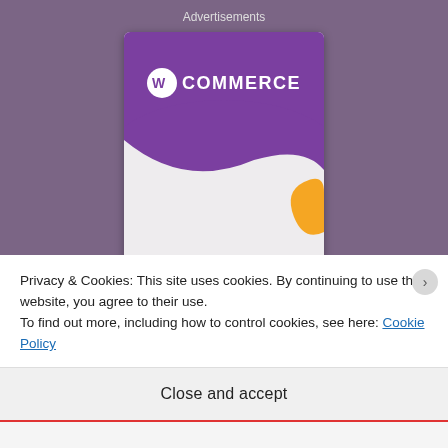Advertisements
[Figure (illustration): WooCommerce advertisement banner showing the WooCommerce logo on a purple background with an orange shape, and text reading 'How to start selling subscriptions online']
Privacy & Cookies: This site uses cookies. By continuing to use this website, you agree to their use.
To find out more, including how to control cookies, see here: Cookie Policy
Close and accept